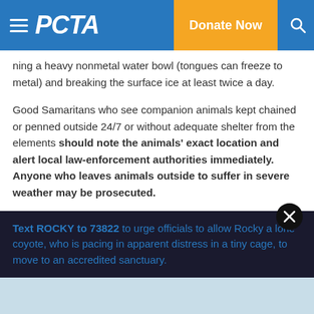PETA | Donate Now
ning a heavy nonmetal water bowl (tongues can freeze to metal) and breaking the surface ice at least twice a day.
Good Samaritans who see companion animals kept chained or penned outside 24/7 or without adequate shelter from the elements should note the animals' exact location and alert local law-enforcement authorities immediately. Anyone who leaves animals outside to suffer in severe weather may be prosecuted.
For more information, please visit PETA.org or follow us on Twitter, Facebook, or Instagram.
Text ROCKY to 73822 to urge officials to allow Rocky a lone coyote, who is pacing in apparent distress in a tiny cage, to move to an accredited sanctuary.